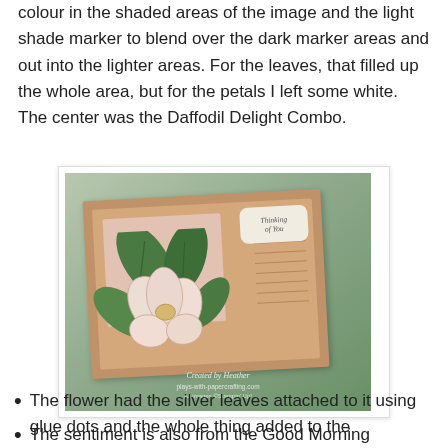colour in the shaded areas of the image and the light shade marker to blend over the dark marker areas and out into the lighter areas. For the leaves, that filled up the whole area, but for the petals I left some white. The center was the Daffodil Delight Combo.
[Figure (photo): A handmade greeting card featuring a magnolia flower with green leaves coloured with markers, a sentiment label reading 'Thinking of You', layered on kraft and pink/peach card panels. Markers and a pen are visible in the foreground background.]
The sentiment is also from the Good Morning Magnolia set and was die cut using the double label dies from the Frosted Bouquet Dies.
The flower had the silver leaves attached to it using glue dots and the whole thing added to the